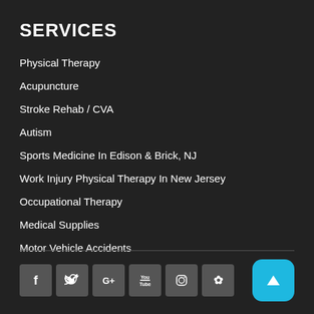SERVICES
Physical Therapy
Acupuncture
Stroke Rehab / CVA
Autism
Sports Medicine In Edison & Brick, NJ
Work Injury Physical Therapy In New Jersey
Occupational Therapy
Medical Supplies
Motor Vehicle Accidents
[Figure (infographic): Row of social media icons: Facebook, Twitter, Google+, YouTube, Instagram, Yelp; and a cyan back-to-top button with triangle arrow]